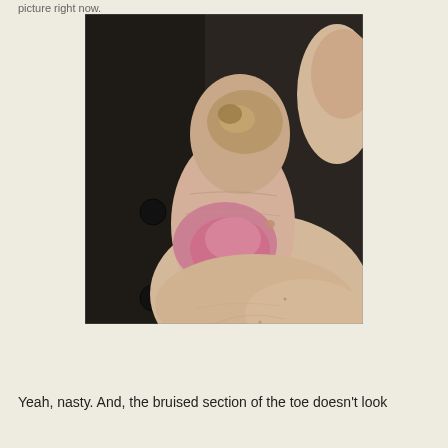picture right now.
[Figure (photo): Close-up photograph of a human big toe showing redness and bruising/swelling on the toe pad area. The toenail appears thickened and discolored. The toe is resting on a dark surface. The swollen area shows a pink-red discoloration consistent with bruising or gout inflammation.]
Yeah, nasty. And, the bruised section of the toe doesn't look